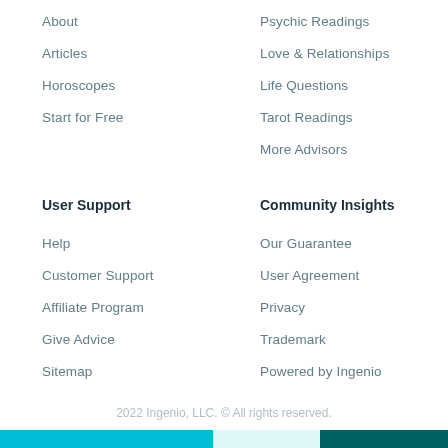About
Psychic Readings
Articles
Love & Relationships
Horoscopes
Life Questions
Start for Free
Tarot Readings
More Advisors
User Support
Community Insights
Help
Our Guarantee
Customer Support
User Agreement
Affiliate Program
Privacy
Give Advice
Trademark
Sitemap
Powered by Ingenio
2022 Ingenio, LLC. © All rights reserved.
[Figure (logo): Teal hot air balloon icon with upward chevron arrow, representing back-to-top or brand logo]